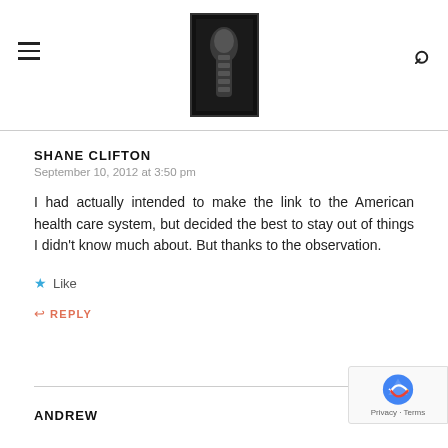[Figure (photo): Website header with hamburger menu icon on left, centered X-ray/medical scan image logo in black frame, and search magnifying glass icon on right]
SHANE CLIFTON
September 10, 2012 at 3:50 pm
I had actually intended to make the link to the American health care system, but decided the best to stay out of things I didn't know much about. But thanks to the observation.
Like
REPLY
ANDREW